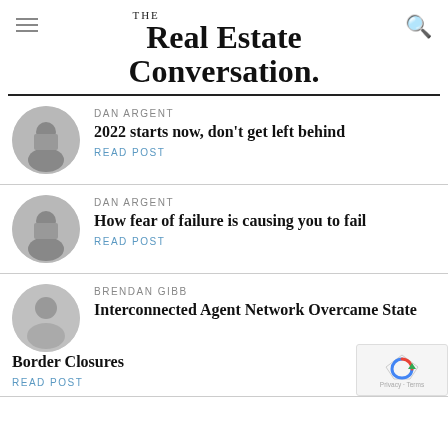THE Real Estate Conversation.
DAN ARGENT
2022 starts now, don't get left behind
READ POST
DAN ARGENT
How fear of failure is causing you to fail
READ POST
BRENDAN GIBB
Interconnected Agent Network Overcame State Border Closures
READ POST